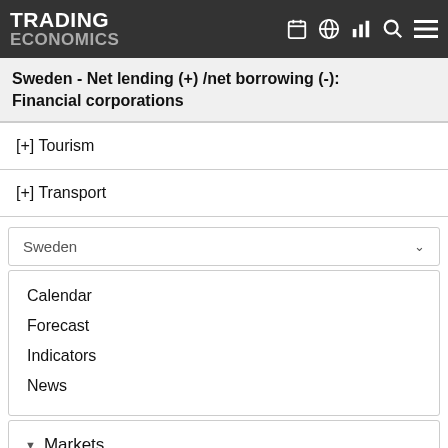TRADING ECONOMICS
Sweden - Net lending (+) /net borrowing (-): Financial corporations
[+] Tourism
[+] Transport
Sweden
Calendar
Forecast
Indicators
News
Markets
GDP